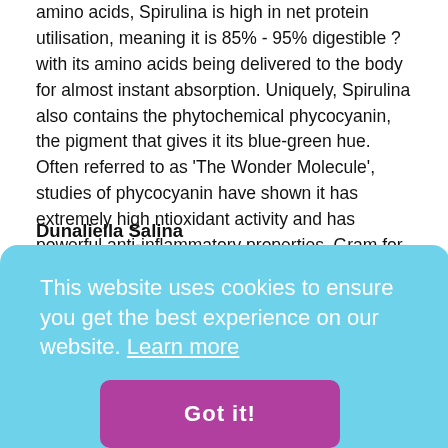amino acids, Spirulina is high in net protein utilisation, meaning it is 85% - 95% digestible ? with its amino acids being delivered to the body for almost instant absorption. Uniquely, Spirulina also contains the phytochemical phycocyanin, the pigment that gives it its blue-green hue. Often referred to as 'The Wonder Molecule', studies of phycocyanin have shown it has extremely high ntioxidant activity and has powerful anti-inflammatory properties. Gram for gram, Spirulina may be the single?most nutritious food?on the planet, it contains 26 x the calcium of milk.
Dunaliella Salina
Dunaliella salina?is a type of micro-algae?especially found in sea salt fields. Revered for its?antioxidant?activity and ability to create large amounts of?high-quality carotenoids. This is another alga that is
ent, in a
l
l at any
powerful
ar pro-
carotenoids act as antioxidants but are also crucial for eyesight by
[Figure (screenshot): Cookie consent banner with light blue background. Text reads 'This website uses cookies to ensure you get the best experience on our website. Learn more' with a purple 'Got it!' button.]